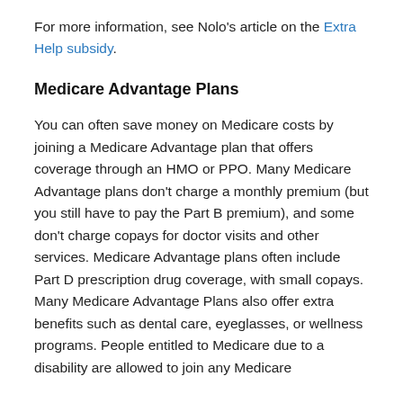For more information, see Nolo's article on the Extra Help subsidy.
Medicare Advantage Plans
You can often save money on Medicare costs by joining a Medicare Advantage plan that offers coverage through an HMO or PPO. Many Medicare Advantage plans don't charge a monthly premium (but you still have to pay the Part B premium), and some don't charge copays for doctor visits and other services. Medicare Advantage plans often include Part D prescription drug coverage, with small copays. Many Medicare Advantage Plans also offer extra benefits such as dental care, eyeglasses, or wellness programs. People entitled to Medicare due to a disability are allowed to join any Medicare